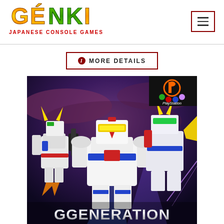[Figure (logo): Genki Japanese Console Games logo - colorful stylized text logo with orange/yellow/green gradient letters and red subtitle text]
[Figure (other): Hamburger menu button icon - three horizontal lines inside a square border]
ⓘ MORE DETAILS
[Figure (photo): SD Gundam G Generation PlayStation game cover art showing chibi-style Gundam robots on a dramatic purple sky background with the word GGENERATION at the bottom and PlayStation logo in top right corner]